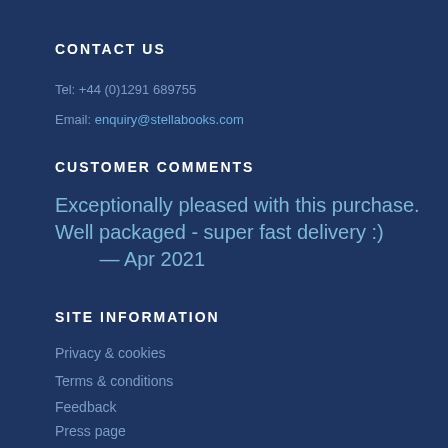CONTACT US
Tel: +44 (0)1291 689755
Email: enquiry@stellabooks.com
CUSTOMER COMMENTS
Exceptionally pleased with this purchase. Well packaged - super fast delivery :)  — Apr 2021
SITE INFORMATION
Privacy & cookies
Terms & conditions
Feedback
Press page
Links